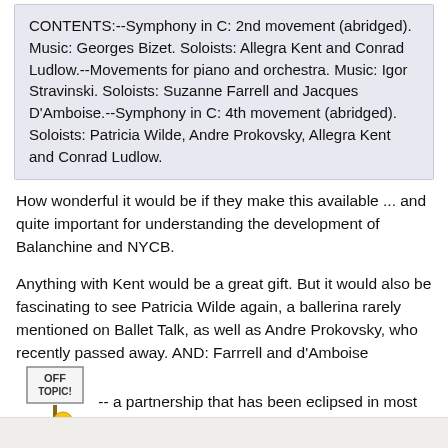CONTENTS:--Symphony in C: 2nd movement (abridged). Music: Georges Bizet. Soloists: Allegra Kent and Conrad Ludlow.--Movements for piano and orchestra. Music: Igor Stravinski. Soloists: Suzanne Farrell and Jacques D'Amboise.--Symphony in C: 4th movement (abridged). Soloists: Patricia Wilde, Andre Prokovsky, Allegra Kent and Conrad Ludlow.
How wonderful it would be if they make this available ... and quite important for understanding the development of Balanchine and NYCB.
Anything with Kent would be a great gift. But it would also be fascinating to see Patricia Wilde again, a ballerina rarely mentioned on Ballet Talk, as well as Andre Prokovsky, who recently passed away. AND: Farrrell and d'Amboise [OFF TOPIC image] -- a partnership that has been eclipsed in most people's minds by Farrell-Martins, but which was often beautiful, even stunning on stage.